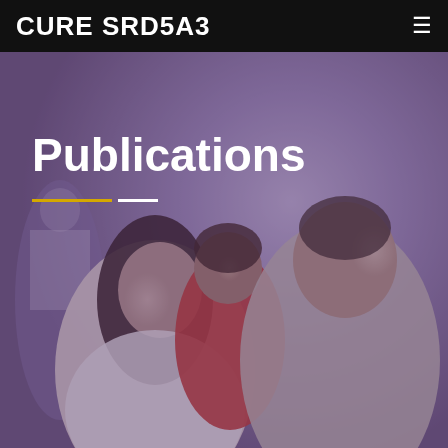[Figure (photo): Background photo of a smiling family: a woman with long dark hair, a young boy in a red shirt, and a man, with a purple/violet overlay. Behind them is a blurred medical setting with people in white coats.]
CURE SRD5A3
Publications